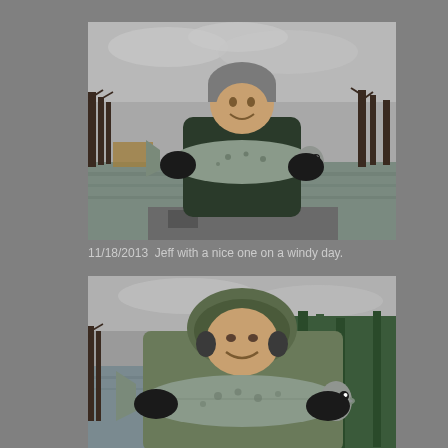[Figure (photo): Man in dark jacket and grey knit beanie hat holding a large steelhead/salmon fish with both hands while standing in a boat on a river. Bare trees and overcast sky in background. Photo dated 11/18/2013.]
11/18/2013  Jeff with a nice one on a windy day.
[Figure (photo): Man in hooded camouflage jacket holding a very large steelhead/salmon fish horizontally, with the fish nearly as wide as the frame. River and bare trees visible in background. Overcast sky.]